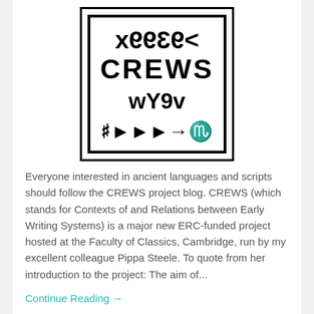[Figure (logo): CREWS project logo: a bordered box containing ancient script characters above and below the word CREWS in bold capital letters]
Everyone interested in ancient languages and scripts should follow the CREWS project blog. CREWS (which stands for Contexts of and Relations between Early Writing Systems) is a major new ERC-funded project hosted at the Faculty of Classics, Cambridge, run by my excellent colleague Pippa Steele. To quote from her introduction to the project: The aim of...
Continue Reading →